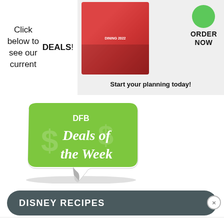Click below to see our current DEALS!
[Figure (illustration): Advertisement for a dining guide book with food images on cover, an ORDER NOW button with green circle, and text 'Start your planning today!']
[Figure (illustration): Green sticker badge with dollar signs watermark reading 'DFB Deals of the Week' with curled corner peel effect]
DISNEY RECIPES
[Figure (illustration): Partially visible image at bottom with a close (X) button in the corner]